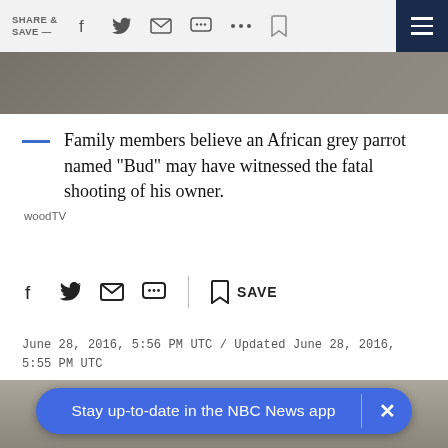SHARE & SAVE —
[Figure (photo): Partial view of a person, likely a news article hero image strip]
Family members believe an African grey parrot named "Bud" may have witnessed the fatal shooting of his owner. woodTV
June 28, 2016, 5:56 PM UTC / Updated June 28, 2016, 5:55 PM UTC
By Rachael Trost
[Figure (photo): Bottom of page news article photo, partially visible]
Stay up-to-date in the NBC News app